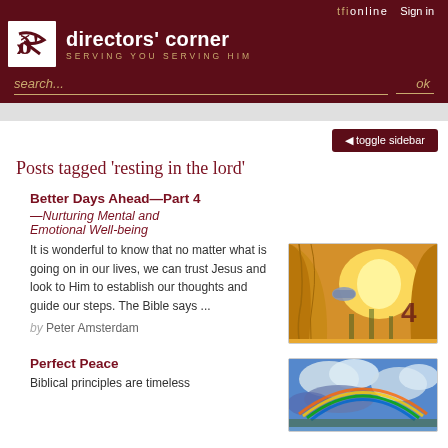tfionline   Sign in   directors' corner   SERVING YOU SERVING HIM   search...   ok
toggle sidebar
Posts tagged 'resting in the lord'
Better Days Ahead—Part 4
—Nurturing Mental and Emotional Well-being
It is wonderful to know that no matter what is going on in our lives, we can trust Jesus and look to Him to establish our thoughts and guide our steps. The Bible says ...
by Peter Amsterdam
[Figure (photo): Hand pulling back golden curtain revealing bright sunlight through trees, with number 4 visible]
Perfect Peace
Biblical principles are timeless
[Figure (photo): Rainbow over dramatic cloudy sky]